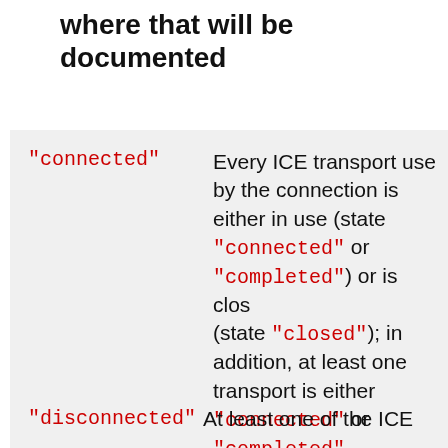where that will be documented
| Key | Description |
| --- | --- |
| "connected" | Every ICE transport used by the connection is either in use (state "connected" or "completed") or is closed (state "closed"); in addition, at least one transport is either "connected" or "completed". |
| "disconnected" | At least one of the ICE... |